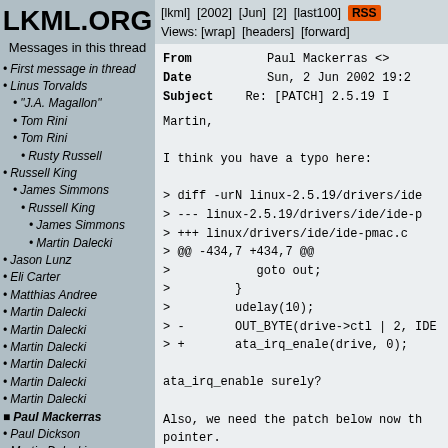LKML.ORG
Messages in this thread
First message in thread
Linus Torvalds
"J.A. Magallon"
Tom Rini
Tom Rini
Rusty Russell
Russell King
James Simmons
Russell King
James Simmons
Martin Dalecki
Jason Lunz
Eli Carter
Matthias Andree
Martin Dalecki
Martin Dalecki
Martin Dalecki
Martin Dalecki
Martin Dalecki
Martin Dalecki
Paul Mackerras
Paul Dickson
Martin Dalecki
[lkml] [2002] [Jun] [2] [last100] RSS Views: [wrap] [headers] [forward]
From	Paul Mackerras <>
Date	Sun, 2 Jun 2002 19:2
Subject	Re: [PATCH] 2.5.19 I
Martin,

I think you have a typo here:

> diff -urN linux-2.5.19/drivers/ide
> --- linux-2.5.19/drivers/ide/ide-p
> +++ linux/drivers/ide/ide-pmac.c
> @@ -434,7 +434,7 @@
>         goto out;
>         }
>         udelay(10);
> -       OUT_BYTE(drive->ctl | 2, IDE
> +       ata_irq_enale(drive, 0);

ata_irq_enable surely?

Also, we need the patch below now th
pointer.

Paul.